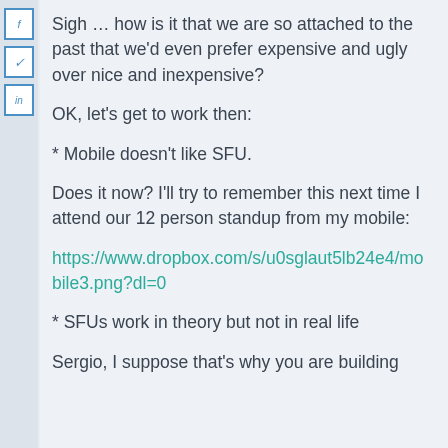Sigh … how is it that we are so attached to the past that we'd even prefer expensive and ugly over nice and inexpensive?
OK, let's get to work then:
* Mobile doesn't like SFU.
Does it now? I'll try to remember this next time I attend our 12 person standup from my mobile:
https://www.dropbox.com/s/u0sglaut5lb24e4/mobile3.png?dl=0
* SFUs work in theory but not in real life
Sergio, I suppose that's why you are building